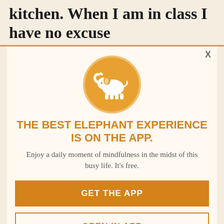kitchen. When I am in class I have no excuse
[Figure (illustration): Orange circle with white elephant silhouette icon, representing the Elephant mindfulness app logo]
THE BEST ELEPHANT EXPERIENCE IS ON THE APP.
Enjoy a daily moment of mindfulness in the midst of this busy life. It's free.
GET THE APP
OPEN IN APP